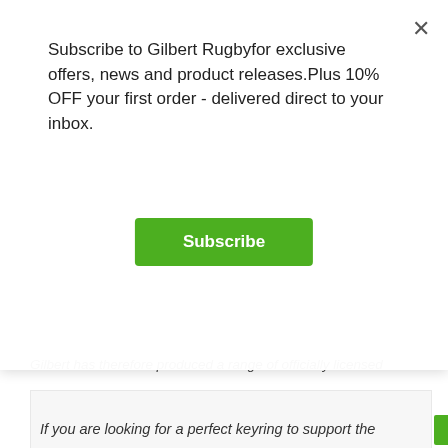Subscribe to Gilbert Rugbyfor exclusive offers, news and product releases.Plus 10% OFF your first order - delivered direct to your inbox.
Subscribe
Gilbert has therefore produced a range of officially licensed
[Figure (screenshot): Blurred/ghost section showing unlock exclusive rewards and perks with sign up button]
If you are looking for a perfect keyring to support the